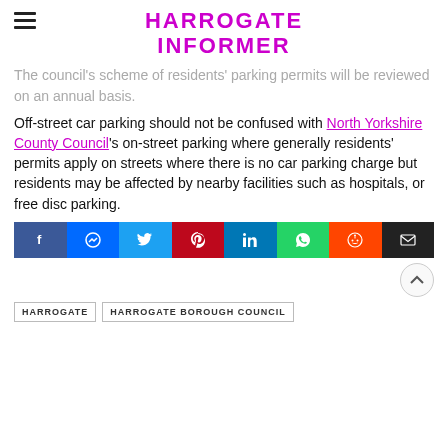HARROGATE INFORMER
The council's scheme of residents' parking permits will be reviewed on an annual basis.
Off-street car parking should not be confused with North Yorkshire County Council's on-street parking where generally residents' permits apply on streets where there is no car parking charge but residents may be affected by nearby facilities such as hospitals, or free disc parking.
[Figure (other): Social media share buttons: Facebook, Messenger, Twitter, Pinterest, LinkedIn, WhatsApp, Reddit, Email]
HARROGATE
HARROGATE BOROUGH COUNCIL